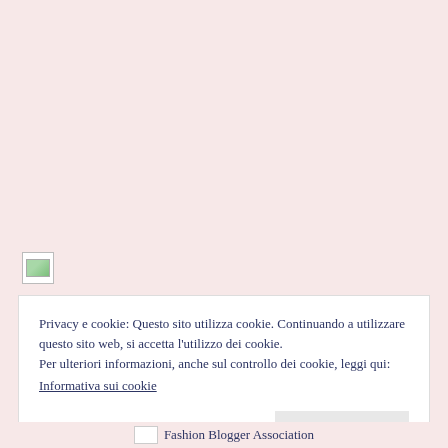[Figure (other): Broken image placeholder (small thumbnail with green landscape icon)]
Privacy e cookie: Questo sito utilizza cookie. Continuando a utilizzare questo sito web, si accetta l'utilizzo dei cookie.
Per ulteriori informazioni, anche sul controllo dei cookie, leggi qui:
Informativa sui cookie
Chiudi e accetta
[Figure (logo): Fashion Blogger Association logo with broken image placeholder]